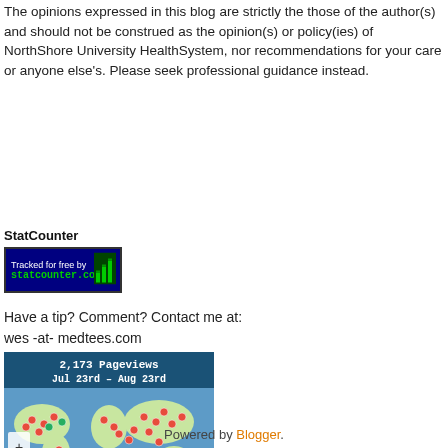The opinions expressed in this blog are strictly the those of the author(s) and should not be construed as the opinion(s) or policy(ies) of NorthShore University HealthSystem, nor recommendations for your care or anyone else's. Please seek professional guidance instead.
View my complete profile
StatCounter
[Figure (logo): StatCounter badge: Tracked for free by statcounter.com with a bar chart icon on dark blue background]
Have a tip? Comment? Contact me at:
wes -at- medtees.com
[Figure (map): StatCounter world map showing 2,173 Pageviews Jul 23rd – Aug 23rd with red dot markers across continents]
Powered by Blogger.